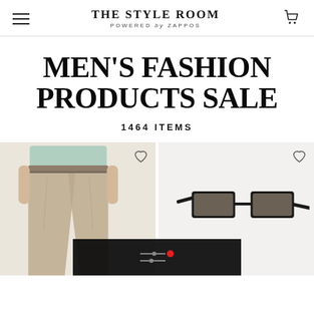THE STYLE ROOM POWERED by ZAPPOS
MEN'S FASHION PRODUCTS SALE
1464 ITEMS
[Figure (photo): Two product images: left shows a man wearing khaki/beige straight-leg pants and a light blue top (cropped from waist to ankle); right shows a pair of rectangular black-frame sunglasses on a light background. Both cards have a heart/wishlist icon in the top right. A dark overlay bar with filter controls (two horizontal lines with dots, a red dot) appears at the bottom center spanning both images.]